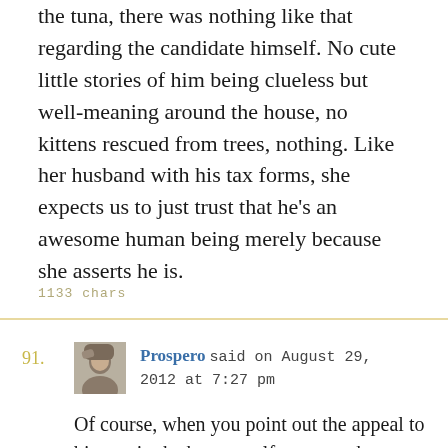the tuna, there was nothing like that regarding the candidate himself. No cute little stories of him being clueless but well-meaning around the house, no kittens rescued from trees, nothing. Like her husband with his tax forms, she expects us to just trust that he's an awesome human being merely because she asserts he is.
1133 chars
Prospero said on August 29, 2012 at 7:27 pm
Of course, when you point out the appeal to bigotry in the bogus welfare to work